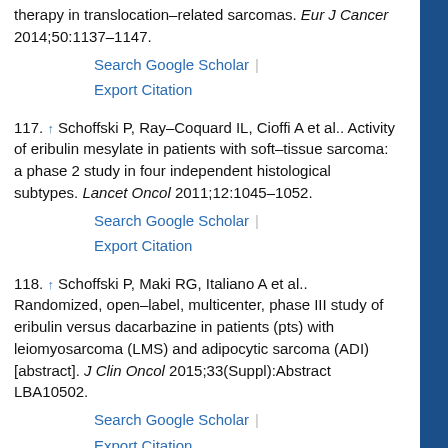therapy in translocation–related sarcomas. Eur J Cancer 2014;50:1137–1147.
Search Google Scholar | Export Citation
117. ↑ Schoffski P, Ray–Coquard IL, Cioffi A et al.. Activity of eribulin mesylate in patients with soft–tissue sarcoma: a phase 2 study in four independent histological subtypes. Lancet Oncol 2011;12:1045–1052.
Search Google Scholar | Export Citation
118. ↑ Schoffski P, Maki RG, Italiano A et al.. Randomized, open–label, multicenter, phase III study of eribulin versus dacarbazine in patients (pts) with leiomyosarcoma (LMS) and adipocytic sarcoma (ADI) [abstract]. J Clin Oncol 2015;33(Suppl):Abstract LBA10502.
Search Google Scholar | Export Citation